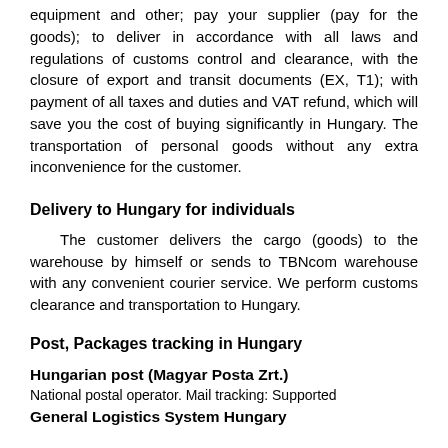equipment and other; pay your supplier (pay for the goods); to deliver in accordance with all laws and regulations of customs control and clearance, with the closure of export and transit documents (EX, T1); with payment of all taxes and duties and VAT refund, which will save you the cost of buying significantly in Hungary. The transportation of personal goods without any extra inconvenience for the customer.
Delivery to Hungary for individuals
The customer delivers the cargo (goods) to the warehouse by himself or sends to TBNcom warehouse with any convenient courier service. We perform customs clearance and transportation to Hungary.
Post, Packages tracking in Hungary
Hungarian post (Magyar Posta Zrt.)
National postal operator. Mail tracking: Supported
General Logistics System Hungary
Cooperation in Hungary